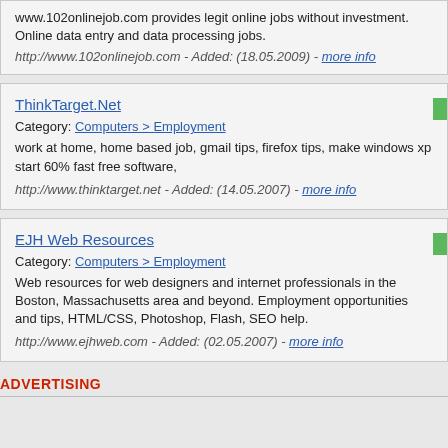www.102onlinejob.com provides legit online jobs without investment. Online data entry and data processing jobs.
http://www.102onlinejob.com - Added: (18.05.2009) - more info
ThinkTarget.Net
Category: Computers > Employment
work at home, home based job, gmail tips, firefox tips, make windows xp start 60% fast free software,
http://www.thinktarget.net - Added: (14.05.2007) - more info
EJH Web Resources
Category: Computers > Employment
Web resources for web designers and internet professionals in the Boston, Massachusetts area and beyond. Employment opportunities and tips, HTML/CSS, Photoshop, Flash, SEO help.
http://www.ejhweb.com - Added: (02.05.2007) - more info
ADVERTISING